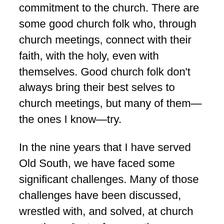commitment to the church. There are some good church folk who, through church meetings, connect with their faith, with the holy, even with themselves. Good church folk don't always bring their best selves to church meetings, but many of them—the ones I know—try.
In the nine years that I have served Old South, we have faced some significant challenges. Many of those challenges have been discussed, wrestled with, and solved, at church meetings. Just a few months ago, during a church council meeting, the treasurer shared her concerns about paying the church bills through the lean summer months. This year was feeling even leaner than usual. She was worried. The people around the table nodded their heads and expressed sympathy and support. Maybe it wouldn't be as bad as all that. Then, we moved